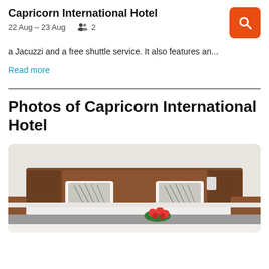Capricorn International Hotel
22 Aug – 23 Aug   2
a Jacuzzi and a free shuttle service. It also features an...
Read more
Photos of Capricorn International Hotel
[Figure (photo): Hotel room photo showing a double bed with wooden headboard, patterned pillows, white bedding, and a flower arrangement on the bed.]